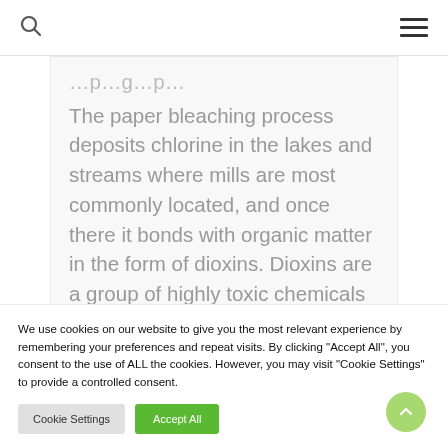The paper bleaching process deposits chlorine in the lakes and streams where mills are most commonly located, and once there it bonds with organic matter in the form of dioxins. Dioxins are a group of highly toxic chemicals that are thought to pose negative effects on
We use cookies on our website to give you the most relevant experience by remembering your preferences and repeat visits. By clicking "Accept All", you consent to the use of ALL the cookies. However, you may visit "Cookie Settings" to provide a controlled consent.